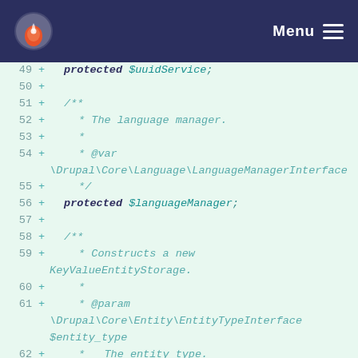Drupal Menu
49  +    protected $uuidService;
50  +
51  +    /**
52  +     * The language manager.
53  +     *
54  +     * @var \Drupal\Core\Language\LanguageManagerInterface
55  +     */
56  +    protected $languageManager;
57  +
58  +    /**
59  +     * Constructs a new KeyValueEntityStorage.
60  +     *
61  +     * @param \Drupal\Core\Entity\EntityTypeInterface $entity_type
62  +     *     The entity type.
63  +     * @param